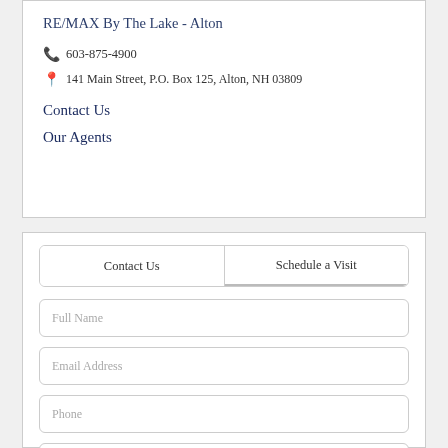RE/MAX By The Lake - Alton
603-875-4900
141 Main Street, P.O. Box 125, Alton, NH 03809
Contact Us
Our Agents
Contact Us | Schedule a Visit
Full Name
Email Address
Phone
I would like to know more about 1059 Ten Rod Road Farmington